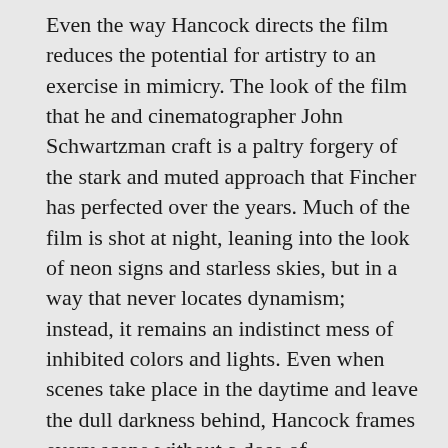Even the way Hancock directs the film reduces the potential for artistry to an exercise in mimicry. The look of the film that he and cinematographer John Schwartzman craft is a paltry forgery of the stark and muted approach that Fincher has perfected over the years. Much of the film is shot at night, leaning into the look of neon signs and starless skies, but in a way that never locates dynamism; instead, it remains an indistinct mess of inhibited colors and lights. Even when scenes take place in the daytime and leave the dull darkness behind, Hancock frames every scene without a dose of imagination. The film is overrun by conversations constructed in strictly traditional shot-reverse-shot, establishing shots of police precincts and diners, and mind-numbingly repetitive sequences of people talking in cars, offices, and restaurants. A crime film is a powerful opportunity to establish a visual language of tension, suspense, and the occasional burst of violent action, but Hancock only locates drudgery.